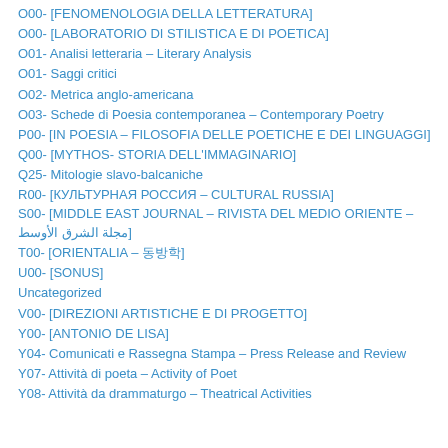O00- [FENOMENOLOGIA DELLA LETTERATURA]
O00- [LABORATORIO DI STILISTICA E DI POETICA]
O01- Analisi letteraria – Literary Analysis
O01- Saggi critici
O02- Metrica anglo-americana
O03- Schede di Poesia contemporanea – Contemporary Poetry
P00- [IN POESIA – FILOSOFIA DELLE POETICHE E DEI LINGUAGGI]
Q00- [MYTHOS- STORIA DELL'IMMAGINARIO]
Q25- Mitologie slavo-balcaniche
R00- [КУЛЬТУРНАЯ РОССИЯ – CULTURAL RUSSIA]
S00- [MIDDLE EAST JOURNAL – RIVISTA DEL MEDIO ORIENTE – مجلة الشرق الأوسط]
T00- [ORIENTALIA – 동방학]
U00- [SONUS]
Uncategorized
V00- [DIREZIONI ARTISTICHE E DI PROGETTO]
Y00- [ANTONIO DE LISA]
Y04- Comunicati e Rassegna Stampa – Press Release and Review
Y07- Attività di poeta – Activity of Poet
Y08- Attività da drammaturgo – Theatrical Activities